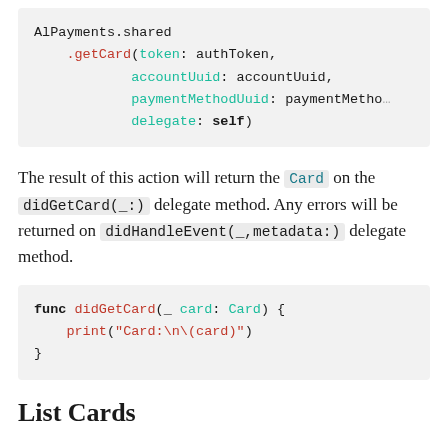[Figure (other): Code block showing AlPayments.shared.getCard call with token, accountUuid, paymentMethodUuid, and delegate parameters]
The result of this action will return the Card on the didGetCard(_:) delegate method. Any errors will be returned on didHandleEvent(_,metadata:) delegate method.
[Figure (other): Code block showing func didGetCard(_ card: Card) { print("Card:\n\(card)") }]
List Cards